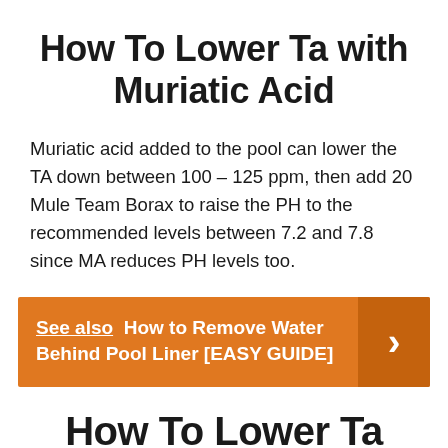How To Lower Ta with Muriatic Acid
Muriatic acid added to the pool can lower the TA down between 100 – 125 ppm, then add 20 Mule Team Borax to raise the PH to the recommended levels between 7.2 and 7.8 since MA reduces PH levels too.
See also  How to Remove Water Behind Pool Liner [EASY GUIDE]
How To Lower Ta Without Lowering Ph